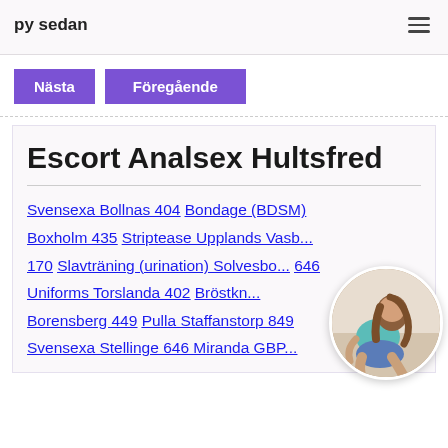py sedan
Nästa
Föregående
Escort Analsex Hultsfred
Svensexa Bollnas 404 Bondage (BDSM) Boxholm 435 Striptease Upplands Vasb... 170 Slavträning (urination) Solvesbo... 646 Uniforms Torslanda 402 Bröstkn... Borensberg 449 Pulla Staffanstorp 849 Svensexa Stellinge 646 Miranda GBP...
[Figure (photo): Circular cropped photo of a woman in a blue top and denim shorts, posed in a seated/crouching position, visible from behind/side.]